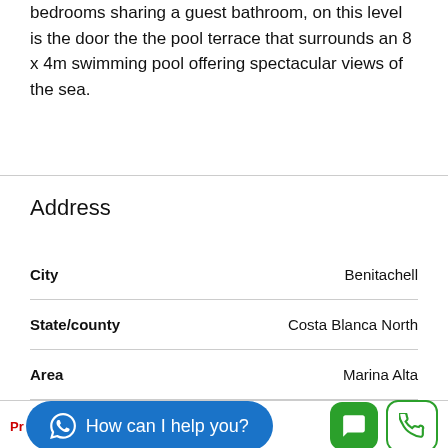bedrooms sharing a guest bathroom, on this level is the door the the pool terrace that surrounds an 8 x 4m swimming pool offering spectacular views of the sea.
Address
|  |  |
| --- | --- |
| City | Benitachell |
| State/county | Costa Blanca North |
| Area | Marina Alta |
[Figure (screenshot): Bottom UI bar with WhatsApp 'How can I help you?' chat button and green chat/phone icon buttons]